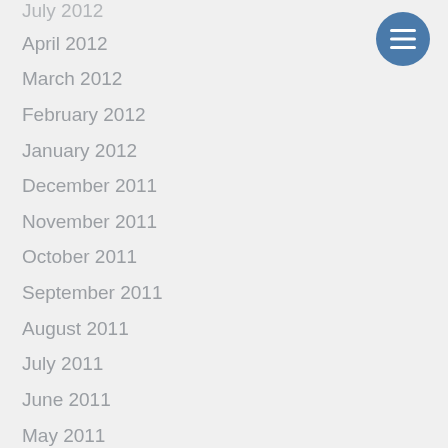July 2012
April 2012
March 2012
February 2012
January 2012
December 2011
November 2011
October 2011
September 2011
August 2011
July 2011
June 2011
May 2011
April 2011
March 2011
February 2011
[Figure (other): Hamburger menu button icon - blue circle with three white horizontal lines]